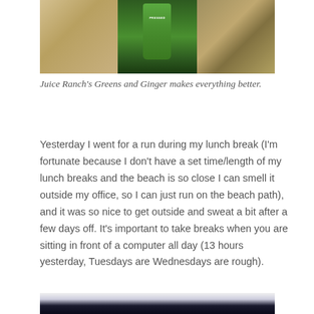[Figure (photo): Photo of green juice (Greens and Ginger) from Juice Ranch, flanked by natural textures (sand/wood on left, pine cones/seeds on right)]
Juice Ranch's Greens and Ginger makes everything better.
Yesterday I went for a run during my lunch break (I'm fortunate because I don't have a set time/length of my lunch breaks and the beach is so close I can smell it outside my office, so I can just run on the beach path), and it was so nice to get outside and sweat a bit after a few days off. It's important to take breaks when you are sitting in front of a computer all day (13 hours yesterday, Tuesdays are Wednesdays are rough).
[Figure (photo): Photo of a person wearing a dark navy/black athletic top, cropped showing torso]